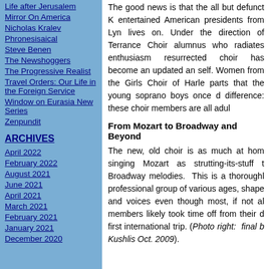Life after Jerusalem
Mirror On America
Nicholas Kralev
Phronesisaical
Steve Benen
The Newshoggers
The Progressive Realist
Travel Orders: Our Life in the Foreign Service
Window on Eurasia New Series
Zenpundit
ARCHIVES
April 2022
February 2022
August 2021
June 2021
April 2021
March 2021
February 2021
January 2021
December 2020
The good news is that the all but defunct K... entertained American presidents from Lyn... lives on. Under the direction of Terrance... Choir alumnus who radiates enthusiasm... resurrected choir has become an updated an... self. Women from the Girls Choir of Harle... parts that the young soprano boys once d... difference: these choir members are all adul...
From Mozart to Broadway and Beyond
The new, old choir is as much at hom... singing Mozart as strutting-its-stuff t... Broadway melodies. This is a thoroughl... professional group of various ages, shape... and voices even though most, if not al... members likely took time off from their d... first international trip. (Photo right: final b... Kushlis Oct. 2009).